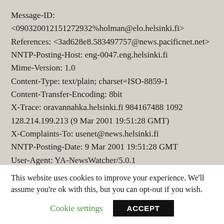Message-ID:
<090320012151272932%holman@elo.helsinki.fi>
References: <3ad628e8.583497757@news.pacificnet.net>
NNTP-Posting-Host: eng-0047.eng.helsinki.fi
Mime-Version: 1.0
Content-Type: text/plain; charset=ISO-8859-1
Content-Transfer-Encoding: 8bit
X-Trace: oravannahka.helsinki.fi 984167488 1092 128.214.199.213 (9 Mar 2001 19:51:28 GMT)
X-Complaints-To: usenet@news.helsinki.fi
NNTP-Posting-Date: 9 Mar 2001 19:51:28 GMT
User-Agent: YA-NewsWatcher/5.0.1
Xref: hub.org alt.revisionism:872144
This website uses cookies to improve your experience. We'll assume you're ok with this, but you can opt-out if you wish.